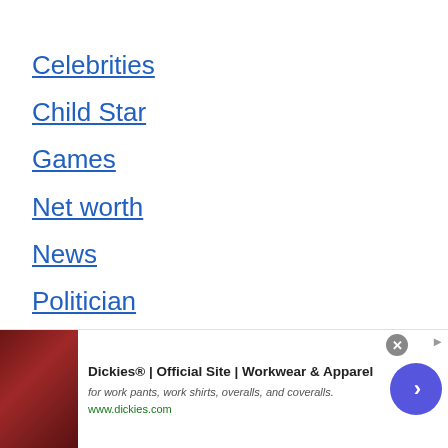Celebrities
Child Star
Games
Net worth
News
Politician
Relationship
Russian Billionaire
Tik Tok Star
Tranding
[Figure (other): Advertisement banner for Dickies Official Site - Workwear & Apparel, showing leather couch image, ad text, www.dickies.com URL, close button, and navigation arrow]